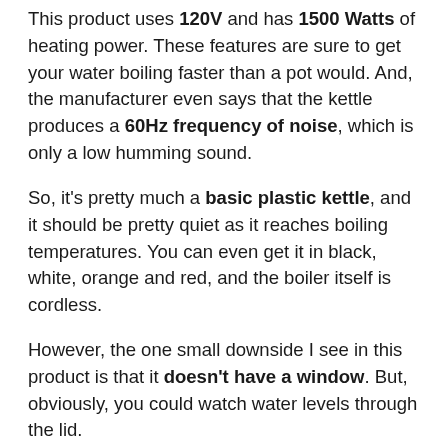This product uses 120V and has 1500 Watts of heating power. These features are sure to get your water boiling faster than a pot would. And, the manufacturer even says that the kettle produces a 60Hz frequency of noise, which is only a low humming sound.
So, it's pretty much a basic plastic kettle, and it should be pretty quiet as it reaches boiling temperatures. You can even get it in black, white, orange and red, and the boiler itself is cordless.
However, the one small downside I see in this product is that it doesn't have a window. But, obviously, you could watch water levels through the lid.